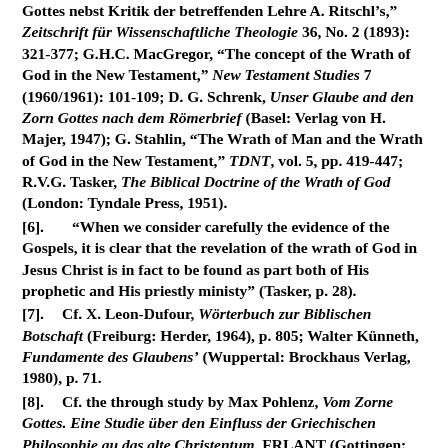Gottes nebst Kritik der betreffenden Lehre A. Ritschl's," Zeitschrift für Wissenschaftliche Theologie 36, No. 2 (1893): 321-377; G.H.C. MacGregor, "The concept of the Wrath of God in the New Testament," New Testament Studies 7 (1960/1961): 101-109; D. G. Schrenk, Unser Glaube and den Zorn Gottes nach dem Römerbrief (Basel: Verlag von H. Majer, 1947); G. Stahlin, "The Wrath of Man and the Wrath of God in the New Testament," TDNT, vol. 5, pp. 419-447; R.V.G. Tasker, The Biblical Doctrine of the Wrath of God (London: Tyndale Press, 1951).
[6]. "When we consider carefully the evidence of the Gospels, it is clear that the revelation of the wrath of God in Jesus Christ is in fact to be found as part both of His prophetic and His priestly ministy" (Tasker, p. 28).
[7]. Cf. X. Leon-Dufour, Wörterbuch zur Biblischen Botschaft (Freiburg: Herder, 1964), p. 805; Walter Künneth, Fundamente des Glaubens' (Wuppertal: Brockhaus Verlag, 1980), p. 71.
[8]. Cf. the through study by Max Pohlenz, Vom Zorne Gottes. Eine Studie über den Einfluss der Griechischen Philosophie au das alte Christentum, FRLANT (Gottingen: